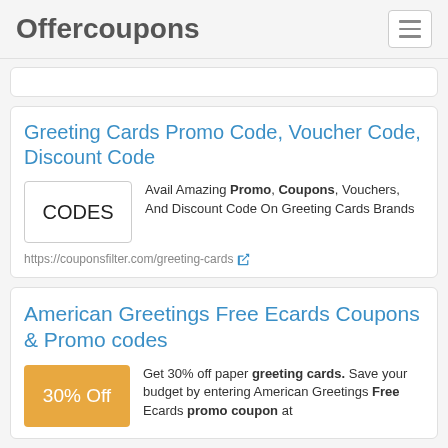Offercoupons
[Figure (screenshot): Empty white card placeholder]
Greeting Cards Promo Code, Voucher Code, Discount Code
Avail Amazing Promo, Coupons, Vouchers, And Discount Code On Greeting Cards Brands
https://couponsfilter.com/greeting-cards
American Greetings Free Ecards Coupons & Promo codes
Get 30% off paper greeting cards. Save your budget by entering American Greetings Free Ecards promo coupon at